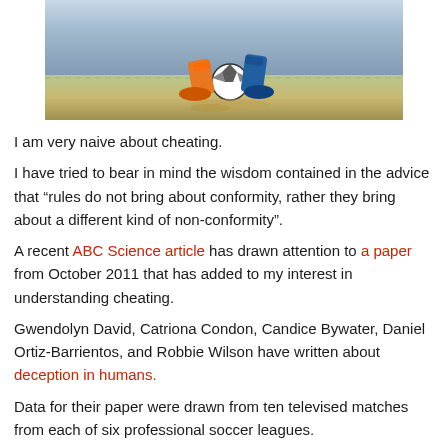[Figure (photo): Soccer player feet with ball on ground, action shot]
I am very naive about cheating.
I have tried to bear in mind the wisdom contained in the advice that “rules do not bring about conformity, rather they bring about a different kind of non-conformity”.
A recent ABC Science article has drawn attention to a paper from October 2011 that has added to my interest in understanding cheating.
Gwendolyn David, Catriona Condon, Candice Bywater, Daniel Ortiz-Barrientos, and Robbie Wilson have written about deception in humans.
Data for their paper were drawn from ten televised matches from each of six professional soccer leagues.
Gwendolyn and her colleagues refer to Paul Morris and David Lewis’s (2010) paper, Tackling Diving: The Perception of Deceptive Intentions in Association Football (Soccer). (Both